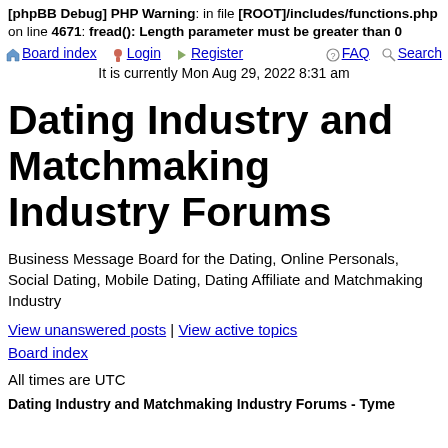[phpBB Debug] PHP Warning: in file [ROOT]/includes/functions.php on line 4671: fread(): Length parameter must be greater than 0
Board index | Login | Register | FAQ | Search
It is currently Mon Aug 29, 2022 8:31 am
Dating Industry and Matchmaking Industry Forums
Business Message Board for the Dating, Online Personals, Social Dating, Mobile Dating, Dating Affiliate and Matchmaking Industry
View unanswered posts | View active topics
Board index
All times are UTC
Dating Industry and Matchmaking Industry Forums - Tyme